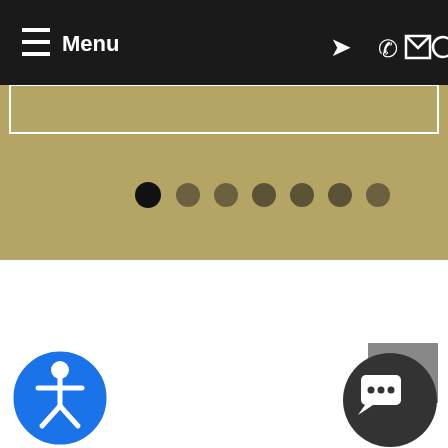[Figure (screenshot): Website navigation bar with black background showing hamburger menu icon and 'Menu' text on the left, and icons for location, phone, email, and search on the right]
[Figure (screenshot): Tan/gold colored banner area with 7 carousel pagination dots, the first dot filled black and the rest gray]
[Figure (screenshot): White content area (empty)]
[Figure (screenshot): Accessibility icon (blue circle with white person figure) in bottom left, and dark circular chat widget with speech bubble icon in bottom right, plus gray back-to-top button]